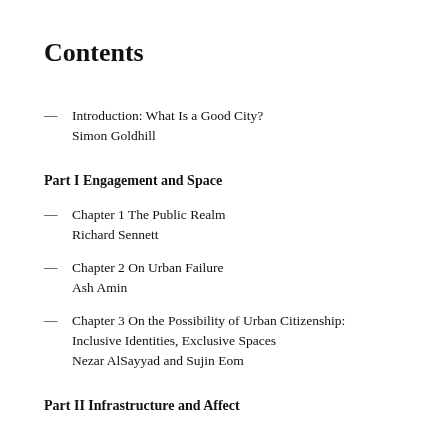Contents
— Introduction: What Is a Good City?
Simon Goldhill
Part I Engagement and Space
— Chapter 1 The Public Realm
Richard Sennett
— Chapter 2 On Urban Failure
Ash Amin
— Chapter 3 On the Possibility of Urban Citizenship: Inclusive Identities, Exclusive Spaces
Nezar AlSayyad and Sujin Eom
Part II Infrastructure and Affect